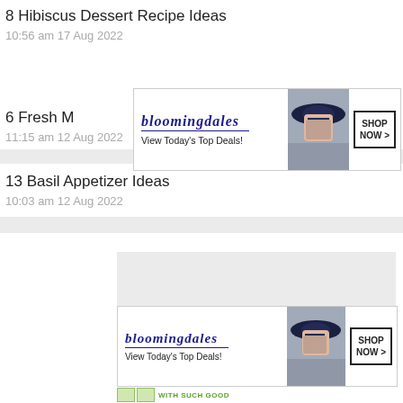8 Hibiscus Dessert Recipe Ideas
10:56 am 17 Aug 2022
[Figure (screenshot): Bloomingdales advertisement banner: 'bloomingdales / View Today's Top Deals!' with image of woman in large hat and 'SHOP NOW >' button]
6 Fresh M
11:15 am 12 Aug 2022
13 Basil Appetizer Ideas
10:03 am 12 Aug 2022
[Figure (screenshot): Lower portion of webpage with gray area, CLOSE button, and second Bloomingdales advertisement banner with 'SHOP NOW >' button and green text bar at bottom]